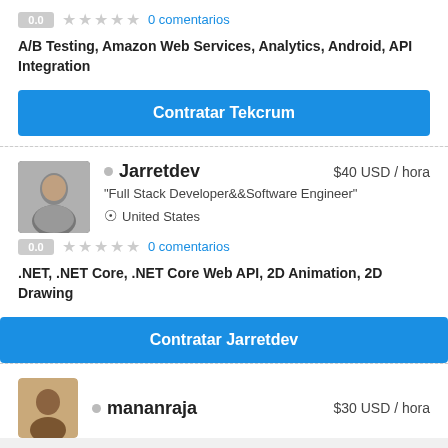0.0 ★★★★★ 0 comentarios
A/B Testing, Amazon Web Services, Analytics, Android, API Integration
Contratar Tekcrum
Jarretdev · $40 USD / hora
"Full Stack Developer&&Software Engineer"
United States
0.0 ★★★★★ 0 comentarios
.NET, .NET Core, .NET Core Web API, 2D Animation, 2D Drawing
Contratar Jarretdev
mananraja · $30 USD / hora